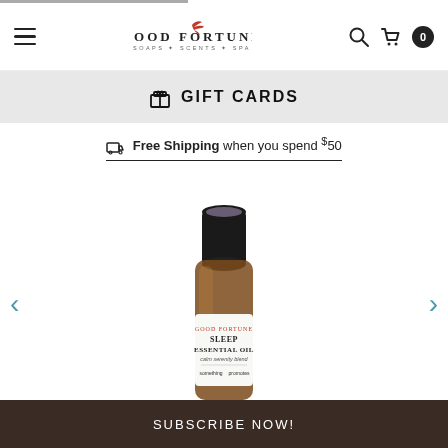Good Fortune – SOAPS + SCENTS + SPA
🎁 GIFT CARDS
Free Shipping when you spend $50
[Figure (photo): A small amber glass bottle of Good Fortune Sleep Essential Oil – calm serenity blend, with a black dropper cap and a white label.]
SUBSCRIBE NOW!